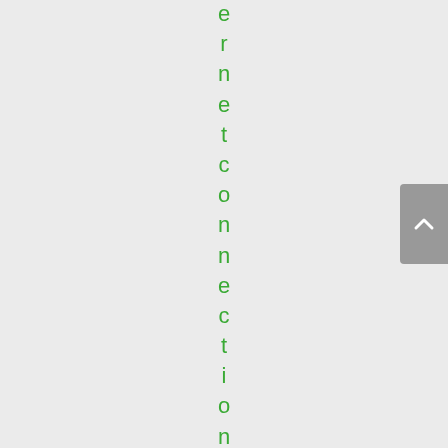ernetconnection, and
[Figure (other): Scroll-to-top button arrow icon on right side of page]